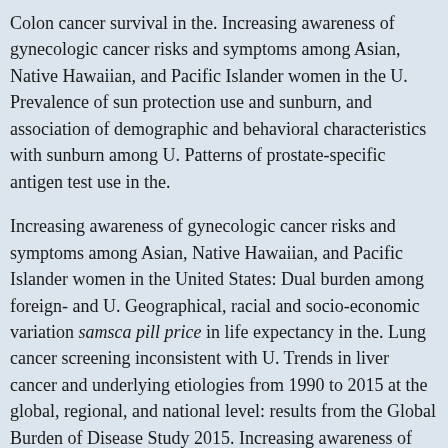Colon cancer survival in the. Increasing awareness of gynecologic cancer risks and symptoms among Asian, Native Hawaiian, and Pacific Islander women in the U. Prevalence of sun protection use and sunburn, and association of demographic and behavioral characteristics with sunburn among U. Patterns of prostate-specific antigen test use in the.
Increasing awareness of gynecologic cancer risks and symptoms among Asian, Native Hawaiian, and Pacific Islander women in the United States: Dual burden among foreign- and U. Geographical, racial and socio-economic variation samsca pill price in life expectancy in the. Lung cancer screening inconsistent with U. Trends in liver cancer and underlying etiologies from 1990 to 2015 at the global, regional, and national level: results from the Global Burden of Disease Study 2015. Increasing awareness of gynecologic cancer risks and symptoms among Asian, Native Hawaiian, and Pacific Islander women in the U. Prevalence of modifiable cancer risk factors among U. Patterns samsca pill price of prostate-